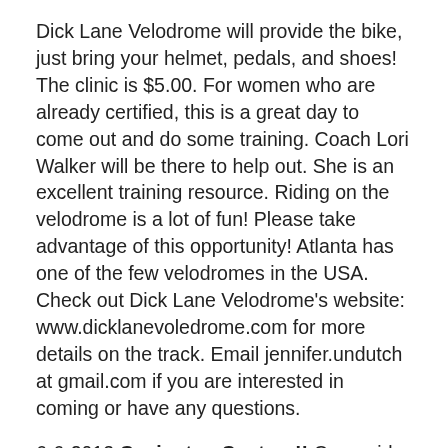Dick Lane Velodrome will provide the bike, just bring your helmet, pedals, and shoes! The clinic is $5.00. For women who are already certified, this is a great day to come out and do some training. Coach Lori Walker will be there to help out. She is an excellent training resource. Riding on the velodrome is a lot of fun! Please take advantage of this opportunity! Atlanta has one of the few velodromes in the USA. Check out Dick Lane Velodrome's website: www.dicklanevoledrome.com for more details on the track. Email jennifer.undutch at gmail.com if you are interested in coming or have any questions.
6-6-2013 Covington Century!! Come ride your fastest century at the Covington Century! Mass Start 7am. CC terrain is flat to rolling. Ride options of 13, 33, 60+ and 100. Great SAG. Spend a day in the saddle zooming past goats, horses, and small donkeys. Coast past rows of cotton, wheat ,and alfalfa and by fields where the sunflowers stand spent. Signature rest stops by MS, Cub Scouts, The Rest Stop